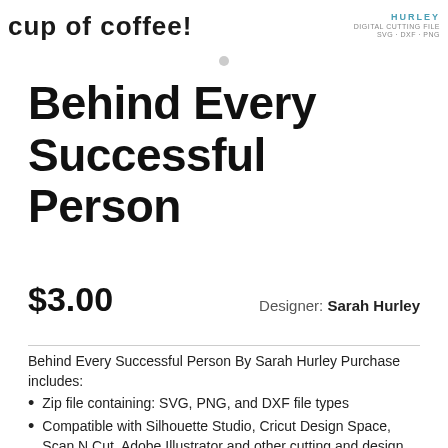cup of coffee! | HURLEY DIGITAL CUTTING SVG · DXF · PNG
Behind Every Successful Person
$3.00    Designer: Sarah Hurley
Behind Every Successful Person By Sarah Hurley Purchase includes:
Zip file containing: SVG, PNG, and DXF file types
Compatible with Silhouette Studio, Cricut Design Space, Scan N Cut, Adobe Illustrator and other cutting and design programs
So Fontsy Standard Commercial Use License